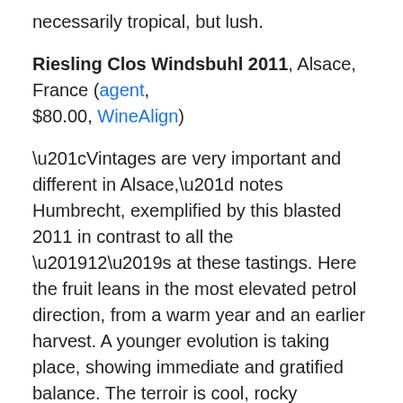necessarily tropical, but lush.
Riesling Clos Windsbuhl 2011, Alsace, France (agent, $80.00, WineAlign)
“Vintages are very important and different in Alsace,” notes Humbrecht, exemplified by this blasted 2011 in contrast to all the ’12’s at these tastings. Here the fruit leans in the most elevated petrol direction, from a warm year and an earlier harvest. A younger evolution is taking place, showing immediate and gratified balance. The terroir is cool, rocky limestone with shells, similar to Burgundy. The clos is a gently sloping, six-hectare parcel. Overall it’s anti-floral, wet chalky creamy and striped by linear acidity. Only 4.5 g/L of sugar. These last two numbers mean nothing if you don’t recognize the PH because there are different acidities in wine. Here the acidity walks the fine line, side